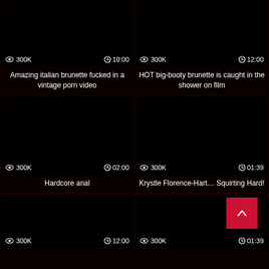[Figure (screenshot): Video thumbnail - dark/black image with view count 300K and duration 10:00]
Amazing italian brunette fucked in a vintage porn video
[Figure (screenshot): Video thumbnail - dark/black image with view count 300K and duration 12:00]
HOT big-booty brunette is caught in the shower on film
[Figure (screenshot): Video thumbnail - dark/black image with view count 300K and duration 02:00]
Hardcore anal
[Figure (screenshot): Video thumbnail - dark/black image with view count 300K and duration 01:39]
Krystle Florence-Hart… Squirting Hard!
[Figure (screenshot): Video thumbnail - dark/black image with view count 300K and duration 12:00]
[Figure (screenshot): Video thumbnail - dark/black image with view count 300K and duration 01:39, with back-to-top button overlay]